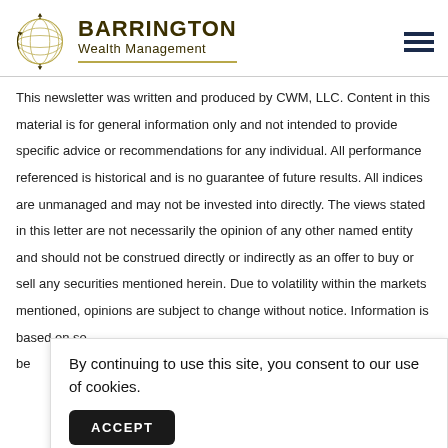[Figure (logo): Barrington Wealth Management logo with globe icon and gold underline]
This newsletter was written and produced by CWM, LLC. Content in this material is for general information only and not intended to provide specific advice or recommendations for any individual. All performance referenced is historical and is no guarantee of future results. All indices are unmanaged and may not be invested into directly. The views stated in this letter are not necessarily the opinion of any other named entity and should not be construed directly or indirectly as an offer to buy or sell any securities mentioned herein. Due to volatility within the markets mentioned, opinions are subject to change without notice. Information is based on so be
By continuing to use this site, you consent to our use of cookies.
ACCEPT